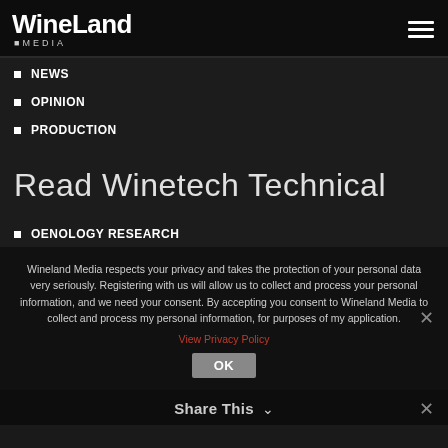WineLand MEDIA
NEWS
OPINION
PRODUCTION
Read Winetech Technical
OENOLOGY RESEARCH
Wineland Media respects your privacy and takes the protection of your personal data very seriously. Registering with us will allow us to collect and process your personal information, and we need your consent. By accepting you consent to Wineland Media to collect and process my personal information, for purposes of my application.
View Privacy Policy
OK
Share This